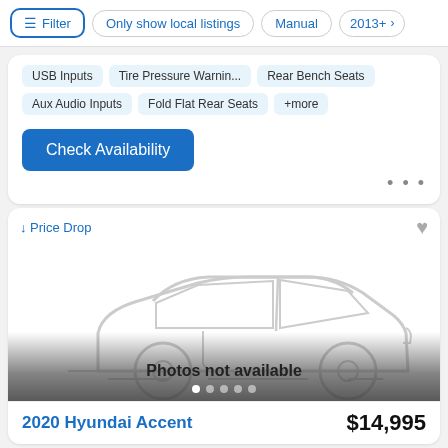Filter | Only show local listings | Manual | 2013+
USB Inputs   Tire Pressure Warnin...   Rear Bench Seats
Aux Audio Inputs   Fold Flat Rear Seats   +more
Check Availability
↓ Price Drop
[Figure (illustration): Placeholder car illustration (line drawing of a sedan) with text 'Photos not available' and pagination dots below]
2020 Hyundai Accent   $14,995